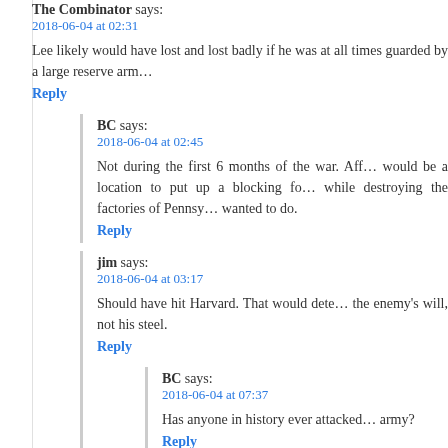The Combinator says:
2018-06-04 at 02:31
Lee likely would have lost and lost badly if he was at all times guarded by a large reserve arm…
Reply
BC says:
2018-06-04 at 02:45
Not during the first 6 months of the war. Aft… would be a location to put up a blocking fo… while destroying the factories of Pennsy… wanted to do.
Reply
jim says:
2018-06-04 at 03:17
Should have hit Harvard. That would dete… the enemy's will, not his steel.
Reply
BC says:
2018-06-04 at 07:37
Has anyone in history ever attacked… army?